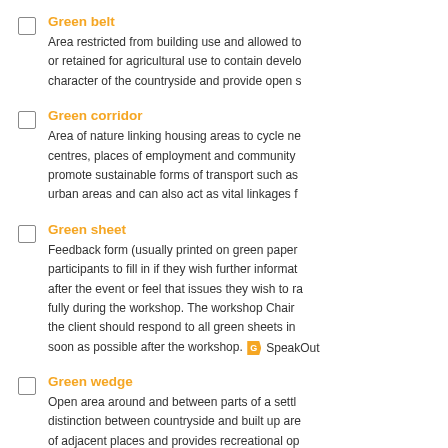Green belt: Area restricted from building use and allowed to or retained for agricultural use to contain development, character of the countryside and provide open space.
Green corridor: Area of nature linking housing areas to cycle networks, centres, places of employment and community promote sustainable forms of transport such as urban areas and can also act as vital linkages for wildlife.
Green sheet: Feedback form (usually printed on green paper) participants to fill in if they wish further information after the event or feel that issues they wish to raise fully during the workshop. The workshop Chair the client should respond to all green sheets in soon as possible after the workshop. SpeakOut
Green wedge: Open area around and between parts of a settlement distinction between countryside and built up areas of adjacent places and provides recreational opportunities.
Greenfield development